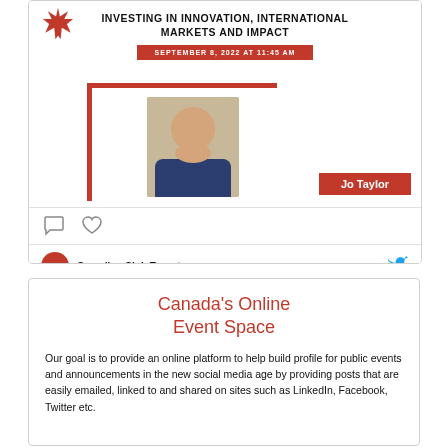[Figure (screenshot): Social media post card showing a Canadian Club Toronto event. Text reads 'INVESTING IN INNOVATION, INTERNATIONAL MARKETS AND IMPACT', date bar 'SEPTEMBER 8, 2022 AT 11:45 AM', speaker photo of Jo Taylor with red frame and name bar, comment and like icons, and Canadian Club Toronto footer with Twitter icon.]
Canada's Online Event Space
Our goal is to provide an online platform to help build profile for public events and announcements in the new social media age by providing posts that are easily emailed, linked to and shared on sites such as LinkedIn, Facebook, Twitter etc.